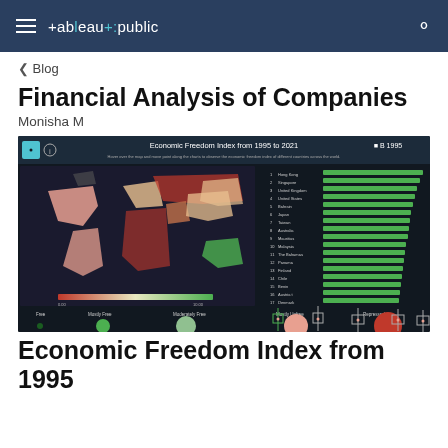tableau public
< Blog
Financial Analysis of Companies
Monisha M
[Figure (screenshot): Tableau Public dashboard screenshot showing 'Economic Freedom Index from 1995 to 2021' with a world choropleth map on the left (countries colored from green to red), a horizontal bar chart on the right ranking countries, and bubble/bar charts at the bottom showing freedom categories: Free, Mostly Free, Moderately Free, Mostly Unfree, Repressed.]
Economic Freedom Index from 1995